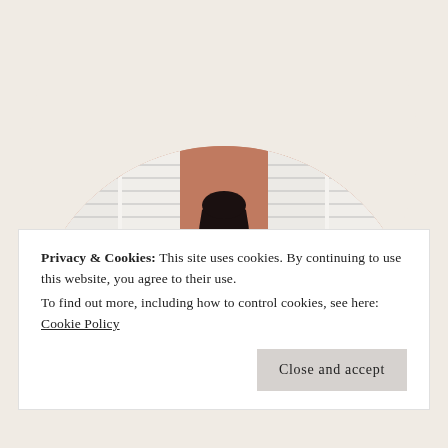[Figure (photo): A woman with long dark hair wearing a black top stands in front of a terracotta/salmon colored wall with two large white louvered shuttered windows, photographed in a semi-circular crop. Background is off-white/cream.]
Privacy & Cookies: This site uses cookies. By continuing to use this website, you agree to their use.
To find out more, including how to control cookies, see here: Cookie Policy